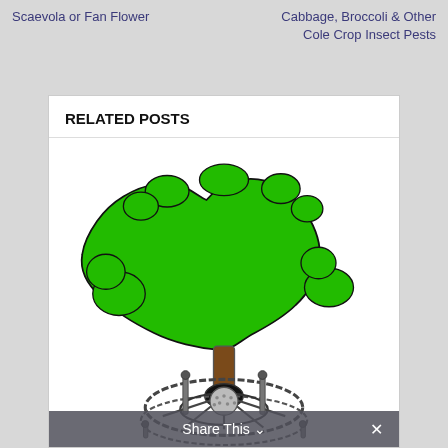Scaevola or Fan Flower
Cabbage, Broccoli & Other Cole Crop Insect Pests
RELATED POSTS
[Figure (illustration): Illustration of a tree with a green leafy canopy mounted on a mechanical wheel/gear-like base structure. The trunk is brown, the canopy is bright green with an irregular outline, and the base appears to be a circular metal scaffolding or wheel mechanism.]
Share This ∨  ✕